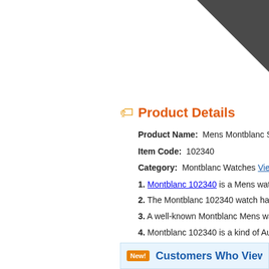[Figure (other): Dark grey triangular corner decoration in upper right]
Product Details
Product Name: Mens Montblanc Star Dress
Item Code: 102340
Category: Montblanc Watches View All Mor
1. Montblanc 102340 is a Mens watch with fi
2. The Montblanc 102340 watch has elegant
3. A well-known Montblanc Mens watches, e
4. Montblanc 102340 is a kind of Automatic w
5. Water resistant case resists water penetra
6. Montblanc 102340 is a new style watch wi
Customers Who Viewed This It